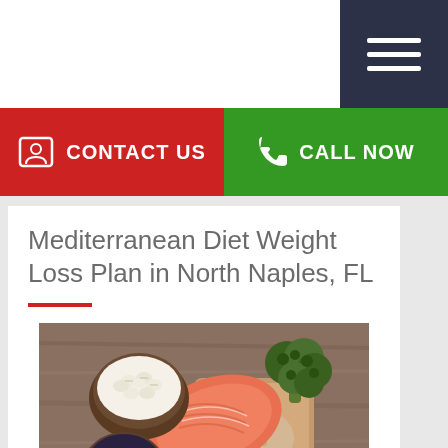CONTACT US
CALL NOW
Mediterranean Diet Weight Loss Plan in North Naples, FL
[Figure (photo): Mediterranean diet foods arranged on a wooden surface: salmon fillet, bowl of white beans, bowl of blueberries, cherry tomatoes, broccoli, avocado, grains on a cutting board, olive oil in a glass container]